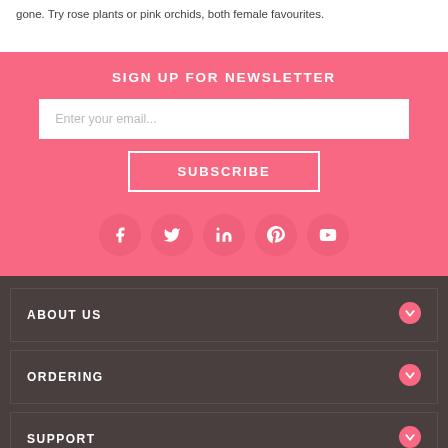gone. Try rose plants or pink orchids, both female favourites.
SIGN UP FOR NEWSLETTER
Enter your email...
SUBSCRIBE
[Figure (infographic): Social media icons: Facebook, Twitter, LinkedIn, Pinterest, YouTube — white icons on pink circles]
ABOUT US
ORDERING
SUPPORT
INTERNATIONAL
Direct2florist HQ